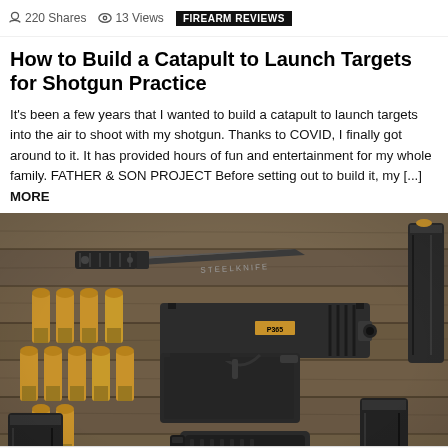220 Shares  13 Views  FIREARM REVIEWS
How to Build a Catapult to Launch Targets for Shotgun Practice
It's been a few years that I wanted to build a catapult to launch targets into the air to shoot with my shotgun. Thanks to COVID, I finally got around to it. It has provided hours of fun and entertainment for my whole family. FATHER & SON PROJECT Before setting out to build it, my [...] MORE
[Figure (photo): Flatlay photo on wooden surface showing a pistol (SIG Sauer P365), a tactical knife, bullet cartridges, magazines, and a holster arranged on a wood plank background]
200 Shares  17 Views  FIREARM REVIEWS